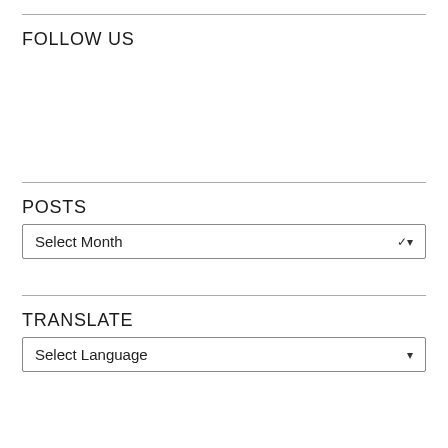FOLLOW US
POSTS
Select Month
TRANSLATE
Select Language